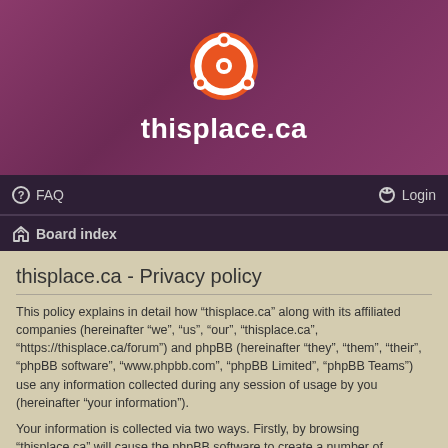[Figure (logo): Ubuntu logo (circular orange icon with white circle pattern) centered in purple header banner]
thisplace.ca
FAQ | Login
Board index
thisplace.ca - Privacy policy
This policy explains in detail how “thisplace.ca” along with its affiliated companies (hereinafter “we”, “us”, “our”, “thisplace.ca”, “https://thisplace.ca/forum”) and phpBB (hereinafter “they”, “them”, “their”, “phpBB software”, “www.phpbb.com”, “phpBB Limited”, “phpBB Teams”) use any information collected during any session of usage by you (hereinafter “your information”).
Your information is collected via two ways. Firstly, by browsing “thisplace.ca” will cause the phpBB software to create a number of cookies, which are small text files that are downloaded on to your computer’s web browser temporary files. The first two cookies just contain a user identifier (hereinafter “user-id”) and an anonymous session identifier (hereinafter “session-id”), automatically assigned to you by the phpBB software. A third